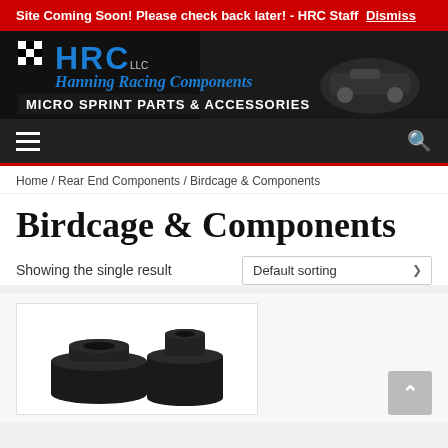Site Coming Soon! Please check back later! - HRC Staff  Dismiss
[Figure (logo): HRC LLC Hanning Racing Components - Micro Sprint Parts & Accessories banner logo with racing car imagery]
[Figure (screenshot): Dark navigation bar with hamburger menu icon on left and search icon on right, red bottom border]
Home / Rear End Components / Birdcage & Components
Birdcage & Components
Showing the single result
[Figure (photo): Two black birdcage bushing/bearing components, cylindrical flanged parts for micro sprint racing]